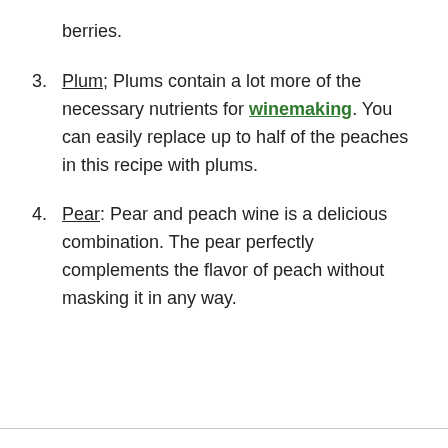berries.
Plum; Plums contain a lot more of the necessary nutrients for winemaking. You can easily replace up to half of the peaches in this recipe with plums.
Pear: Pear and peach wine is a delicious combination. The pear perfectly complements the flavor of peach without masking it in any way.